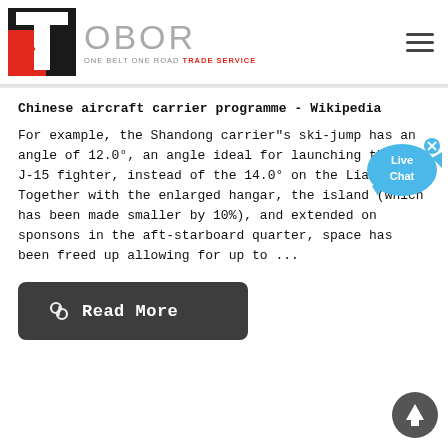[Figure (logo): OBOR Trade Service logo with red and black geometric TS icon and grey OBOR text with subtitle ONE BELT ONE ROAD TRADE SERVICE]
Chinese aircraft carrier programme - Wikipedia
For example, the Shandong carrier"s ski-jump has an angle of 12.0°, an angle ideal for launching the She J-15 fighter, instead of the 14.0° on the Liaoning. Together with the enlarged hangar, the island (which has been made smaller by 10%), and extended on sponsons in the aft-starboard quarter, space has been freed up allowing for up to ...
[Figure (illustration): Live Chat button - blue speech bubble with 'Live Chat' text and a close X button]
Read More
[Figure (illustration): Scroll to top circular button with upward arrow]